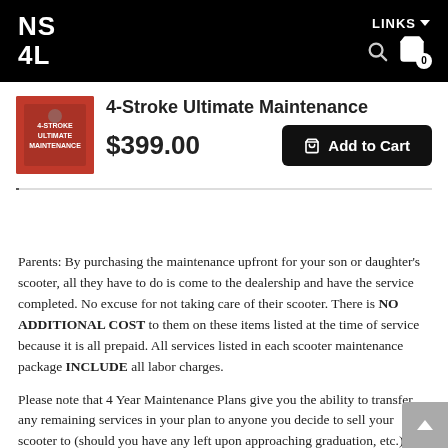NS 4L — LINKS — search — cart (0)
4-Stroke Ultimate Maintenance
$399.00
Add to Cart
Parents: By purchasing the maintenance upfront for your son or daughter's scooter, all they have to do is come to the dealership and have the service completed. No excuse for not taking care of their scooter. There is NO ADDITIONAL COST to them on these items listed at the time of service because it is all prepaid. All services listed in each scooter maintenance package INCLUDE all labor charges.
Please note that 4 Year Maintenance Plans give you the ability to transfer any remaining services in your plan to anyone you decide to sell your scooter to (should you have any left upon approaching graduation, etc.). You should consider upgrading